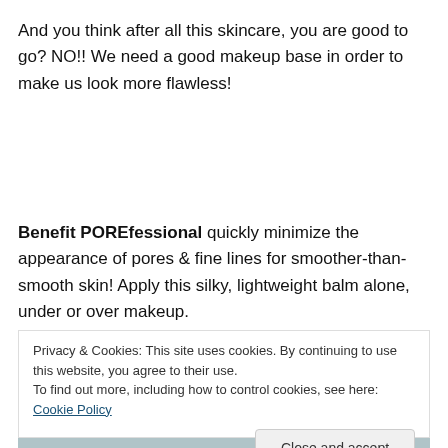And you think after all this skincare, you are good to go? NO!! We need a good makeup base in order to make us look more flawless!
Benefit POREfessional quickly minimize the appearance of pores & fine lines for smoother-than-smooth skin! Apply this silky, lightweight balm alone, under or over makeup. Translucent, oil-free formula complements all skintones
Privacy & Cookies: This site uses cookies. By continuing to use this website, you agree to their use.
To find out more, including how to control cookies, see here: Cookie Policy
Close and accept